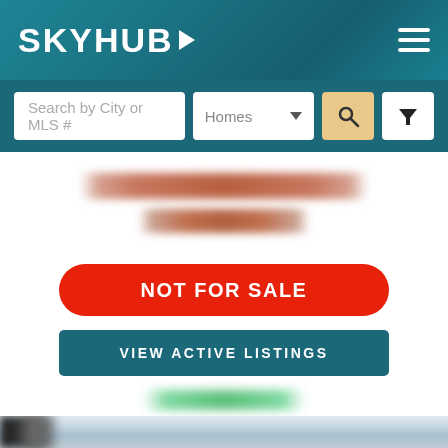SKYHUB
Search by City or MLS #
Homes
[Figure (screenshot): Blurred property address text (redacted)]
NOT FOR SALE
VIEW ACTIVE LISTINGS
[Figure (photo): Blurred exterior photo of a house with trees in the background]